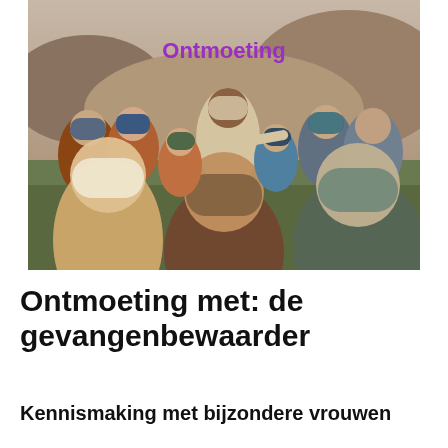[Figure (photo): A scene depicting a figure resembling Jesus sitting outdoors in a desert/rocky landscape, surrounded by a group of people dressed in ancient Middle Eastern clothing, seated in a circle. The word 'Ontmoeting' appears in purple text overlaid on the image.]
Ontmoeting met: de gevangenbewaarder
Kennismaking met bijzondere vrouwen